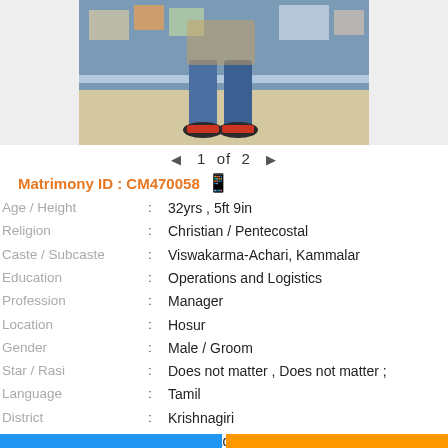[Figure (photo): Photo of a person from waist down wearing jeans and sneakers, standing in what appears to be a shopping mall or store interior]
1 of 2
Matrimony ID : CM470058
| Age / Height | : | 32yrs , 5ft 9in |
| Religion | : | Christian / Pentecostal |
| Caste / Subcaste | : | Viswakarma-Achari, Kammalar |
| Education | : | Operations and Logistics |
| Profession | : | Manager |
| Location | : | Hosur |
| Gender | : | Male / Groom |
| Star / Rasi | : | Does not matter , Does not matter ; |
| Language | : | Tamil |
| District | : | Krishnagiri |
| State | : | Tamil Nadu |
| Country | : | India |